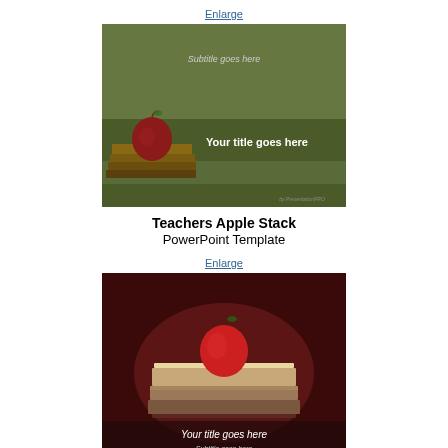Enlarge
[Figure (screenshot): Teachers Apple Stack PowerPoint template preview: green chalkboard background with a red apple sitting on stacked books on the left side, dark olive green banner across the middle with white text 'Your title goes here', and above the banner 'Subtitle goes here', PresentationPRO watermark bottom right.]
Teachers Apple Stack
PowerPoint Template
Enlarge
[Figure (screenshot): Teachers Pet PowerPoint template preview: dark red/maroon background with a red apple sitting on top of stacked books in the center, white italic text 'Your title goes here' and 'Subtitle goes here' near the bottom, PresentationPRO watermark bottom right.]
Teachers Pet
PowerPoint Template